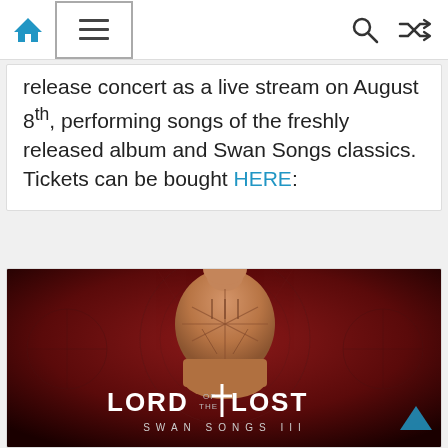Navigation bar with home icon, hamburger menu, search icon, and shuffle icon
release concert as a live stream on August 8th, performing songs of the freshly released album and Swan Songs classics. Tickets can be bought HERE:
[Figure (photo): Album cover for Lord of the Lost – Swan Songs III. Shows a figure from behind with geometric tattoo-like markings on their back against a dark red background. Text at bottom reads LORD OF THE LOST – SWAN SONGS III.]